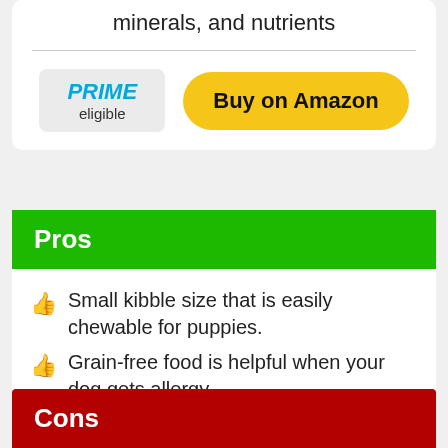minerals, and nutrients
[Figure (other): PRIME eligible badge and Buy on Amazon yellow button]
Pros
Small kibble size that is easily chewable for puppies.
Grain-free food is helpful when your dog gets allergy.
Cons